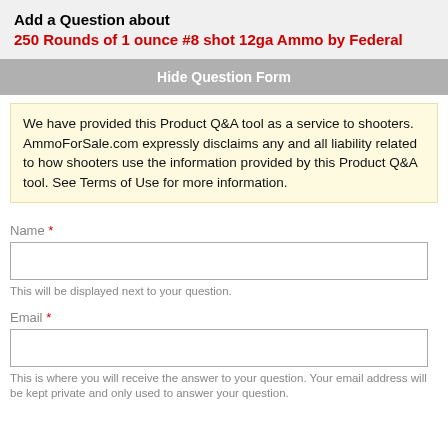Add a Question about
250 Rounds of 1 ounce #8 shot 12ga Ammo by Federal
Hide Question Form
We have provided this Product Q&A tool as a service to shooters. AmmoForSale.com expressly disclaims any and all liability related to how shooters use the information provided by this Product Q&A tool. See Terms of Use for more information.
Name *
This will be displayed next to your question.
Email *
This is where you will receive the answer to your question. Your email address will be kept private and only used to answer your question.